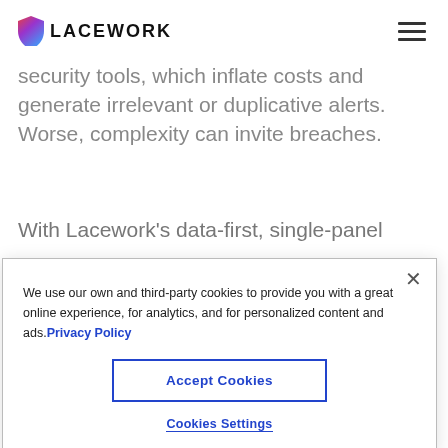LACEWORK
security tools, which inflate costs and generate irrelevant or duplicative alerts. Worse, complexity can invite breaches.
With Lacework's data-first, single-panel
We use our own and third-party cookies to provide you with a great online experience, for analytics, and for personalized content and ads. Privacy Policy
Accept Cookies
Cookies Settings
hins to run hins